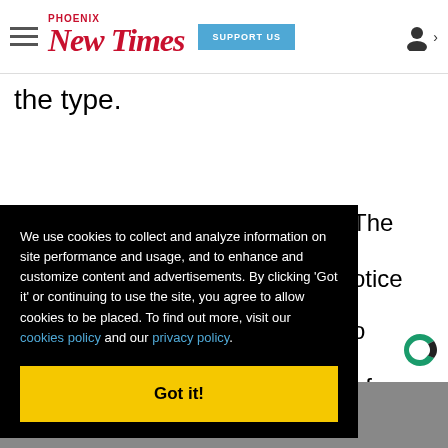Phoenix New Times | SUPPORT US
the type.
We use cookies to collect and analyze information on site performance and usage, and to enhance and customize content and advertisements. By clicking 'Got it' or continuing to use the site, you agree to allow cookies to be placed. To find out more, visit our cookies policy and our privacy policy. Got it!
[Figure (photo): Photo strip at bottom of page, partially visible]